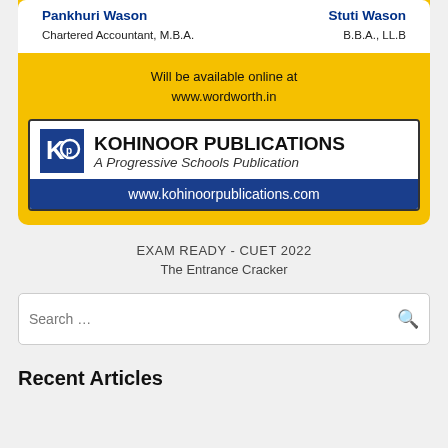Pankhuri Wason — Chartered Accountant, M.B.A. | Stuti Wason — B.B.A., LL.B
Will be available online at www.wordworth.in
[Figure (logo): Kohinoor Publications logo with KP icon, tagline 'A Progressive Schools Publication', and website www.kohinoorpublications.com on blue bar]
EXAM READY - CUET 2022
The Entrance Cracker
Search …
Recent Articles